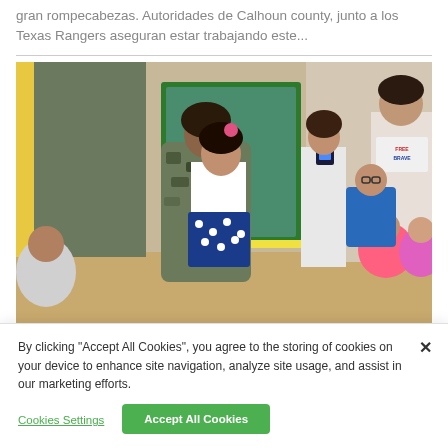gran rompecabezas. Autoridades de Calhoun county, junto a los Texas Rangers aseguran estar trabajando este...
[Figure (photo): A person in military camouflage uniform kneeling and hugging a young girl in a white top and polka-dot skirt inside a school classroom. Other children and adults are watching and applauding in the background.]
By clicking “Accept All Cookies”, you agree to the storing of cookies on your device to enhance site navigation, analyze site usage, and assist in our marketing efforts.
Cookies Settings
Accept All Cookies